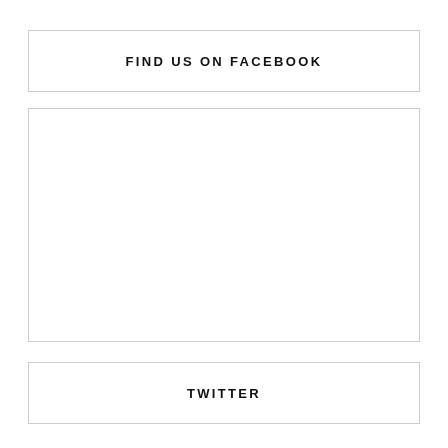FIND US ON FACEBOOK
[Figure (other): Empty white box placeholder for Facebook content]
TWITTER